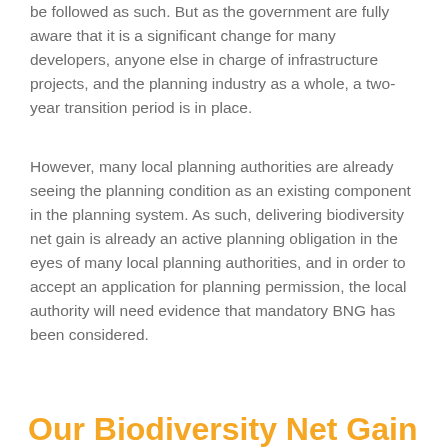be followed as such. But as the government are fully aware that it is a significant change for many developers, anyone else in charge of infrastructure projects, and the planning industry as a whole, a two-year transition period is in place.
However, many local planning authorities are already seeing the planning condition as an existing component in the planning system. As such, delivering biodiversity net gain is already an active planning obligation in the eyes of many local planning authorities, and in order to accept an application for planning permission, the local authority will need evidence that mandatory BNG has been considered.
Our Biodiversity Net Gain